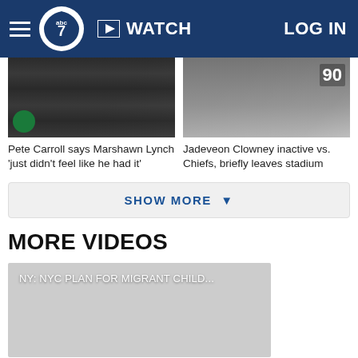abc7 WATCH LOG IN
[Figure (photo): Pete Carroll at press conference podium with Seahawks branding in background]
Pete Carroll says Marshawn Lynch 'just didn't feel like he had it'
[Figure (photo): Jadeveon Clowney in Houston Texans jersey number 90]
Jadeveon Clowney inactive vs. Chiefs, briefly leaves stadium
SHOW MORE
MORE VIDEOS
[Figure (screenshot): Video thumbnail placeholder with text: NY: NYC PLAN FOR MIGRANT CHILD...]